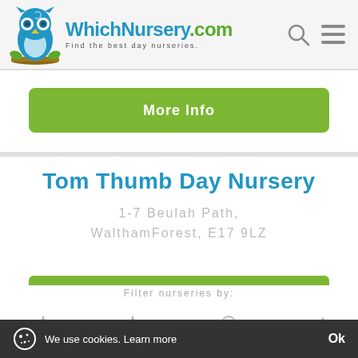[Figure (logo): WhichNursery.com logo with blue owl mascot and tagline 'Find the best day nurseries.']
More Info
Tom Thumb Day Nursery
1-7 Beulah Path, WalthamForest, E17 9LZ
Filter nurseries by:
We use cookies. Learn more
Ok